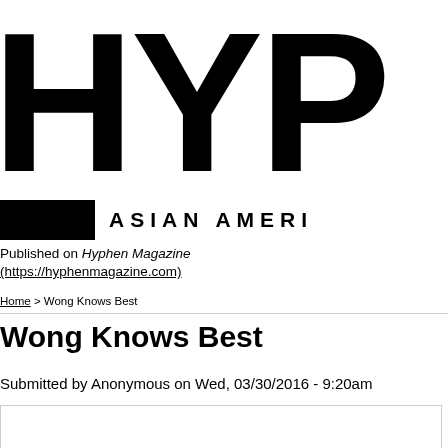[Figure (logo): Hyphen Magazine logo — large bold letters HYP (partially visible) in black on white background]
ASIAN AMERI
Published on Hyphen Magazine (https://hyphenmagazine.com)
Home > Wong Knows Best
Wong Knows Best
Submitted by Anonymous on Wed, 03/30/2016 - 9:20am